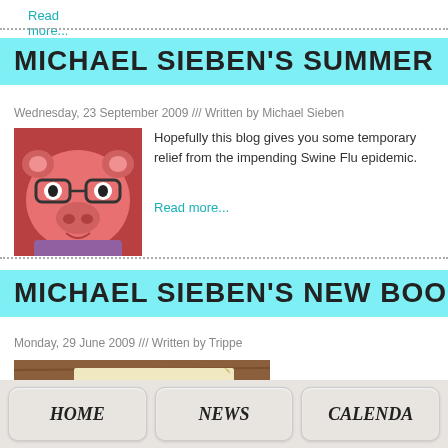Read more...
MICHAEL SIEBEN'S SUMMER
Wednesday, 23 September 2009 /// Written by Michael Sieben
[Figure (photo): Pink toy pig with glasses wearing a purple jacket, close-up face shot.]
Hopefully this blog gives you some temporary relief from the impending Swine Flu epidemic.
Read more...
MICHAEL SIEBEN'S NEW BOO
Monday, 29 June 2009 /// Written by Trippe
[Figure (photo): Book cover on wooden surface reading THERE'S NOTHING WRONG WITH YA...]
HOME
NEWS
CALENDA